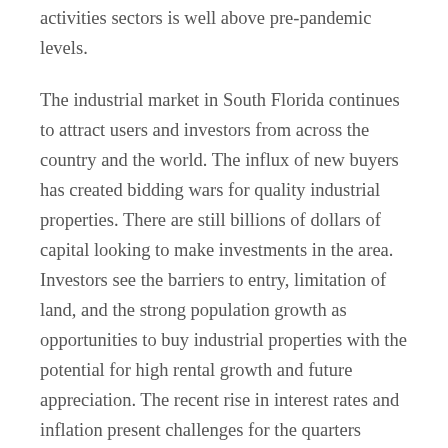activities sectors is well above pre-pandemic levels.
The industrial market in South Florida continues to attract users and investors from across the country and the world. The influx of new buyers has created bidding wars for quality industrial properties. There are still billions of dollars of capital looking to make investments in the area. Investors see the barriers to entry, limitation of land, and the strong population growth as opportunities to buy industrial properties with the potential for high rental growth and future appreciation. The recent rise in interest rates and inflation present challenges for the quarters ahead. However, industrial real estate in South Florida is one of the best places in the country to outrun the inflation.
← Prev: City of Florida City Land Sold to Developer: